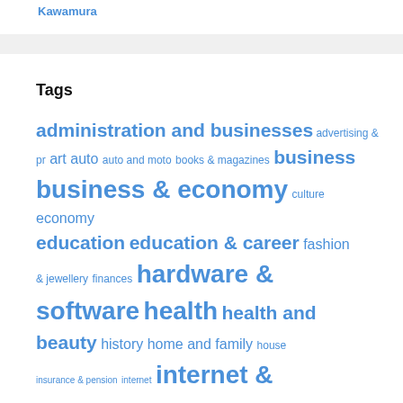Kawamura
Tags
administration and businesses advertising & pr art auto auto and moto books & magazines business business & economy culture economy education education & career fashion & jewellery finances hardware & software health health and beauty history home and family house insurance & pension internet internet &